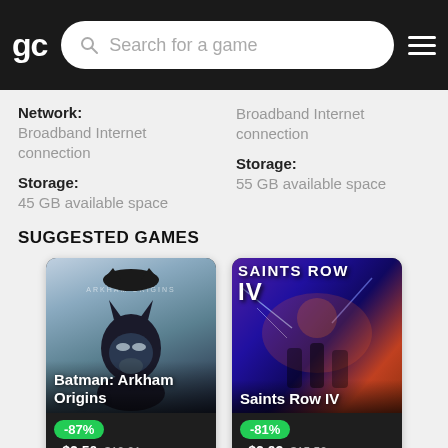gc  Search for a game
Network:
Broadband Internet connection
Storage:
45 GB available space
Broadband Internet connection
Storage:
55 GB available space
SUGGESTED GAMES
[Figure (screenshot): Batman: Arkham Origins game card with -87% discount badge, price ~$2.50 (original $19.91)]
[Figure (screenshot): Saints Row IV game card with -81% discount badge, price ~$2.93 (original $15.52)]